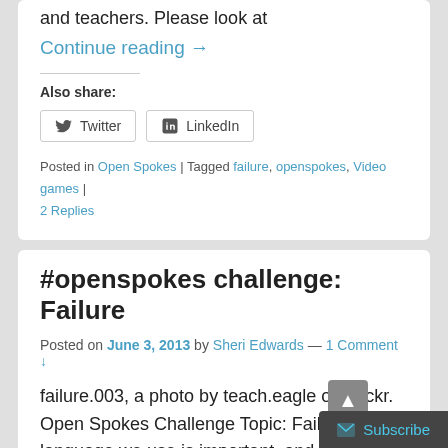and teachers. Please look at
Continue reading →
Also share:
Twitter | LinkedIn
Posted in Open Spokes | Tagged failure, openspokes, Video games | 2 Replies
#openspokes challenge: Failure
Posted on June 3, 2013 by Sheri Edwards — 1 Comment ↓
failure.003, a photo by teach.eagle on Flickr. Open Spokes Challenge Topic: Failure "The language we use is important, and so I think it is important that we have these discussions to tease-out what we mean. and as Varen